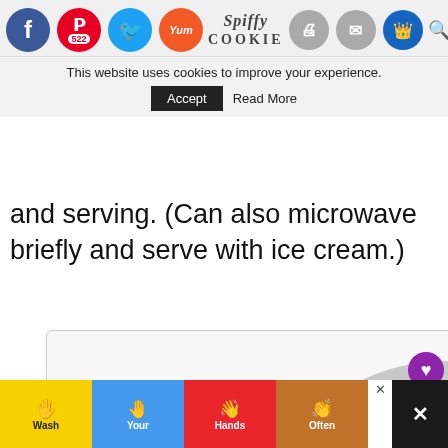Spiffy Cookie website header with social sharing icons (Facebook, Pinterest 522, Twitter, Yummly, Print, Mail, Crown) and cookie consent notice: This website uses cookies to improve your experience. [Accept] [Read More]
and serving. (Can also microwave briefly and serve with ice cream.)
[Figure (logo): The Spiffy Cookie logo — a cartoon cookie wearing glasses on a purple circular badge with decorative gear border, partially visible inside a recipe card. A heart/like button (purple, count: 7) and a share button are overlaid on the right side.]
[Figure (infographic): Advertisement banner at the bottom: Wash Your Hands Often — four illustrated panels with hand-washing emoji in yellow, blue, red, and brown color blocks.]